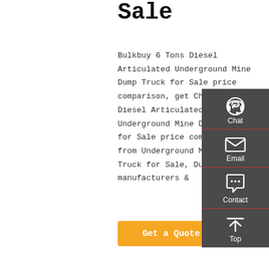Sale
Bulkbuy 6 Tons Diesel Articulated Underground Mine Dump Truck for Sale price comparison, get China 6 Tons Diesel Articulated Underground Mine Dump Truck for Sale price comparison from Underground Mine Dump Truck for Sale, Dump Truck manufacturers &
[Figure (infographic): Right sidebar with dark grey background showing Chat (headset icon), Email (envelope icon), Contact (speech bubble icon), and Top (up arrow icon) buttons, each separated by red horizontal lines.]
Get a Quote